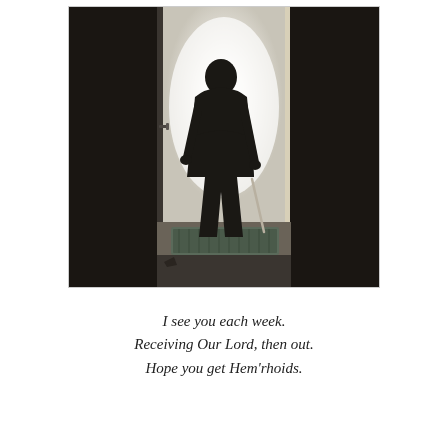[Figure (photo): Black and white photograph of an elderly person seen from behind, silhouetted against a bright open doorway, holding a cane and walking toward the exit. A dark door frame flanks both sides; a green floor mat is visible near the threshold.]
I see you each week. Receiving Our Lord, then out. Hope you get Hem'rhoids.